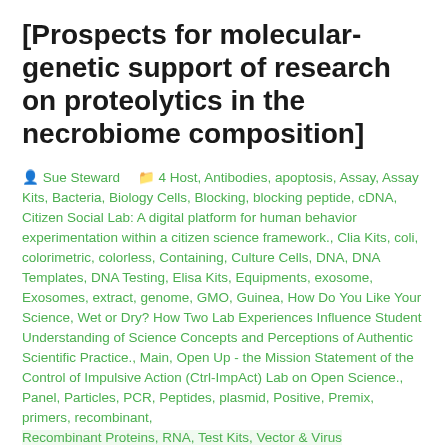[Prospects for molecular-genetic support of research on proteolytics in the necrobiome composition]
Sue Steward   4 Host, Antibodies, apoptosis, Assay, Assay Kits, Bacteria, Biology Cells, Blocking, blocking peptide, cDNA, Citizen Social Lab: A digital platform for human behavior experimentation within a citizen science framework., Clia Kits, coli, colorimetric, colorless, Containing, Culture Cells, DNA, DNA Templates, DNA Testing, Elisa Kits, Equipments, exosome, Exosomes, extract, genome, GMO, Guinea, How Do You Like Your Science, Wet or Dry? How Two Lab Experiences Influence Student Understanding of Science Concepts and Perceptions of Authentic Scientific Practice., Main, Open Up - the Mission Statement of the Control of Impulsive Action (Ctrl-ImpAct) Lab on Open Science., Panel, Particles, PCR, Peptides, plasmid, Positive, Premix, primers, recombinant, Recombinant Proteins, RNA, Test Kits, Vector & Virus